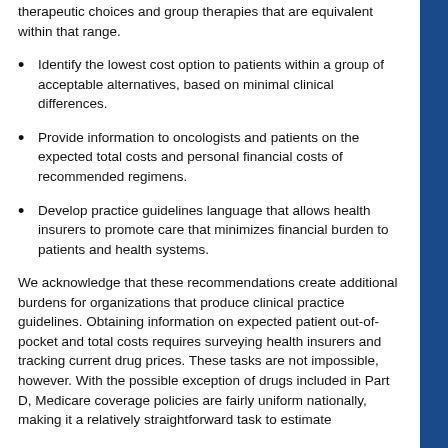therapeutic choices and group therapies that are equivalent within that range.
Identify the lowest cost option to patients within a group of acceptable alternatives, based on minimal clinical differences.
Provide information to oncologists and patients on the expected total costs and personal financial costs of recommended regimens.
Develop practice guidelines language that allows health insurers to promote care that minimizes financial burden to patients and health systems.
We acknowledge that these recommendations create additional burdens for organizations that produce clinical practice guidelines. Obtaining information on expected patient out-of-pocket and total costs requires surveying health insurers and tracking current drug prices. These tasks are not impossible, however. With the possible exception of drugs included in Part D, Medicare coverage policies are fairly uniform nationally, making it a relatively straightforward task to estimate